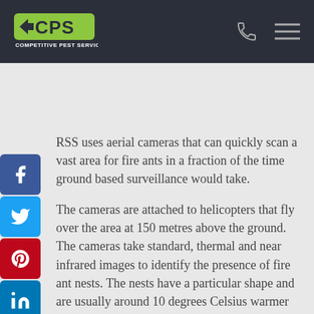CPS Competitive Pest Services
RSS uses aerial cameras that can quickly scan a vast area for fire ants in a fraction of the time ground based surveillance would take.
The cameras are attached to helicopters that fly over the area at 150 metres above the ground. The cameras take standard, thermal and near infrared images to identify the presence of fire ant nests. The nests have a particular shape and are usually around 10 degrees Celsius warmer than the ground around them.
The imagery is processed by an algorithm and then fed to analysts to take informed action.